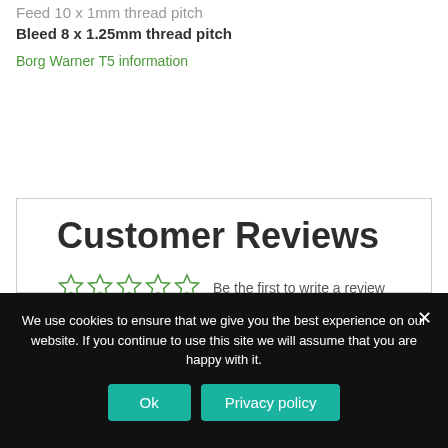Feed 10 x 1mm thread pitch
Bleed 8 x 1.25mm thread pitch
Borg Warner T5 information
Customer Reviews
Be the first to write a review
Write a review
We use cookies to ensure that we give you the best experience on our website. If you continue to use this site we will assume that you are happy with it.
Ok
Privacy policy